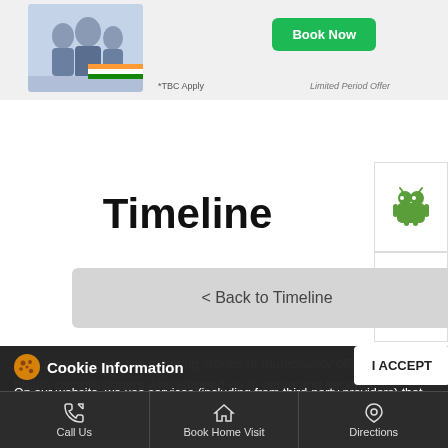[Figure (screenshot): Top banner with family photo, Book Now green button, *TBC Apply text, Limited Period Offer text]
Timeline
[Figure (logo): Android logo green robot icon]
[Figure (logo): Apple logo icon]
< Back to Timeline
their priority, there are inspiring stories of municipality officers and health commissioners who stepped up to serve and secure their communities. Get these Heroes registered today for the Pride in Profession Award.
hres/healthcareheroes.in/sign-up/
#HealthcareHeroesOfIndia #MetropolisLab
Cookie Information On our website, we use services (including from third-party providers) that help us to improve our online presence (optimization of website) and to display content that is geared to their interests. We need your consent before being able to use these services.
I ACCEPT
Call Us | Book Home Visit | Directions